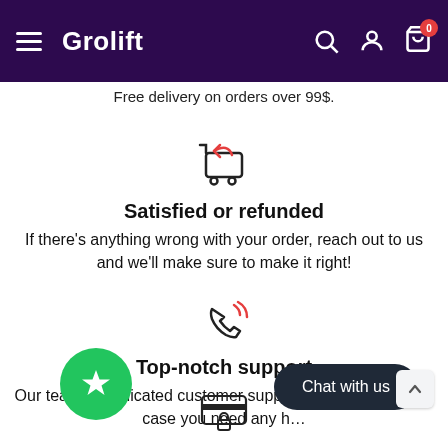Grolift — navigation bar with hamburger menu, search, account, and cart icons
Free delivery on orders over 99$.
[Figure (illustration): Shopping cart with return arrow icon]
Satisfied or refunded
If there's anything wrong with your order, reach out to us and we'll make sure to make it right!
[Figure (illustration): Phone with signal waves icon indicating support]
Top-notch support
Our team of dedicated customer support is here with you in case you need any h…
[Figure (illustration): Green circle with star icon and Chat with us button and credit card lock icon at bottom]